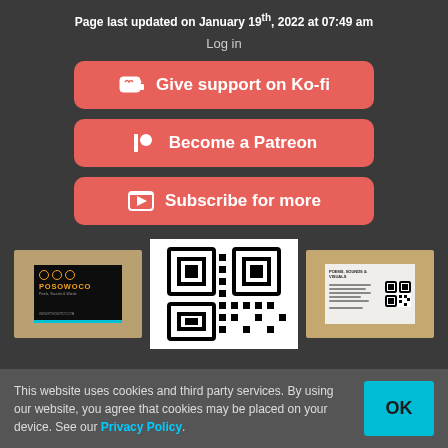Page last updated on January 19th, 2022 at 07:49 am
Log in
[Figure (infographic): Red rounded button with Ko-fi cup icon: Give support on Ko-fi]
[Figure (infographic): Red rounded button with Patreon icon: Become a Patreon]
[Figure (infographic): Red rounded button with subscribe icon: Subscribe for more]
[Figure (photo): Three images: left shows hand holding black POSOWOCO business card with orange logo and blue accent; center shows a QR code on white background; right shows hand holding white back of business card with QR code]
This website uses cookies and third party services. By using our website, you agree that cookies may be placed on your device. See our Privacy Policy.